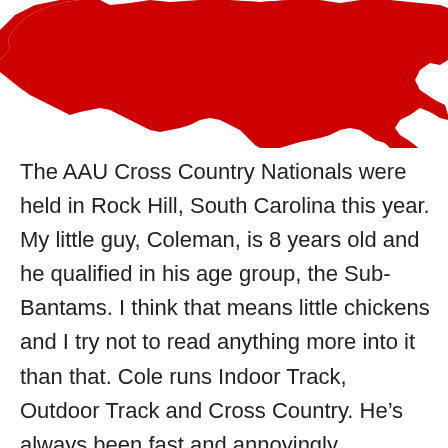[Figure (map): Red silhouette map of the United States (partial, cropped at top), showing the contiguous lower 48 states in solid red against a white background.]
The AAU Cross Country Nationals were held in Rock Hill, South Carolina this year. My little guy, Coleman, is 8 years old and he qualified in his age group, the Sub-Bantams. I think that means little chickens and I try not to read anything more into it than that. Cole runs Indoor Track, Outdoor Track and Cross Country. He's always been fast and annoyingly energetic but track has given him confidence, discipline, a team he loves and a place to belong. He identifies with his group, which can be a two edged sword but the coaches are adamant about supporting the sport through respect for all runners regardless of team affiliation.